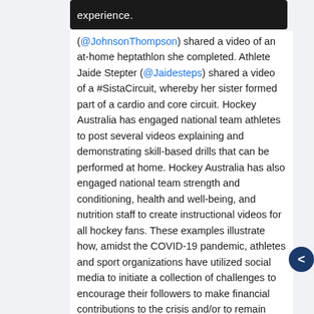[Figure (screenshot): Dark tooltip/popup bar with white text reading 'experience.']
(@JohnsonThompson) shared a video of an at-home heptathlon she completed. Athlete Jaide Stepter (@Jaidesteps) shared a video of a #SistaCircuit, whereby her sister formed part of a cardio and core circuit. Hockey Australia has engaged national team athletes to post several videos explaining and demonstrating skill-based drills that can be performed at home. Hockey Australia has also engaged national team strength and conditioning, health and well-being, and nutrition staff to create instructional videos for all hockey fans. These examples illustrate how, amidst the COVID-19 pandemic, athletes and sport organizations have utilized social media to initiate a collection of challenges to encourage their followers to make financial contributions to the crisis and/or to remain physically active despite social distancing measures. These initiatives often align with sport or the specific sport in which the